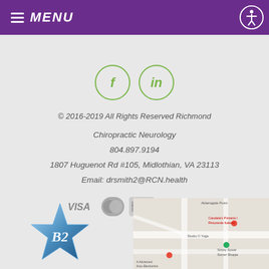MENU
[Figure (logo): Facebook and LinkedIn social media icons — green circular outlined icons with 'f' and 'in' symbols]
© 2016-2019 All Rights Reserved Richmond
Chiropractic Neurology
804.897.9194
1807 Huguenot Rd #105, Midlothian, VA 23113
Email: drsmith2@RCN.health
[Figure (logo): Payment icons: VISA, MasterCard, American Express, DISCOVER]
[Figure (logo): Blue star award logo with stylized 'B2' lettering]
[Figure (map): Google Maps embedded map showing area near Studio O Yoga, Strictly Soccer Soccer Shoppe, Candela's Pizzeria, Ristorante Italiano, A Advanced Auto Electronics]